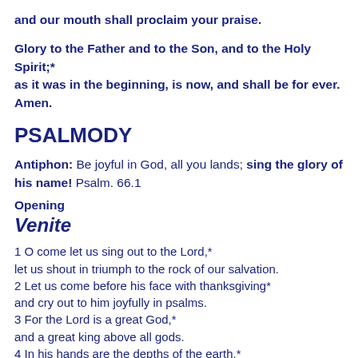and our mouth shall proclaim your praise.
Glory to the Father and to the Son, and to the Holy Spirit;* as it was in the beginning, is now, and shall be for ever. Amen.
PSALMODY
Antiphon: Be joyful in God, all you lands; sing the glory of his name! Psalm. 66.1
Opening
Venite
1 O come let us sing out to the Lord,*
let us shout in triumph to the rock of our salvation.
2 Let us come before his face with thanksgiving*
and cry out to him joyfully in psalms.
3 For the Lord is a great God,*
and a great king above all gods.
4 In his hands are the depths of the earth,*